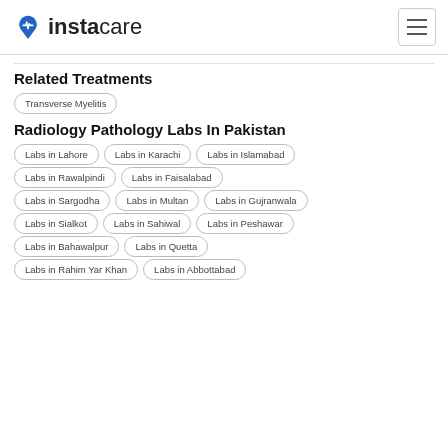instacare
Related Treatments
Transverse Myelitis
Radiology Pathology Labs In Pakistan
Labs in Lahore
Labs in Karachi
Labs in Islamabad
Labs in Rawalpindi
Labs in Faisalabad
Labs in Sargodha
Labs in Multan
Labs in Gujranwala
Labs in Sialkot
Labs in Sahiwal
Labs in Peshawar
Labs in Bahawalpur
Labs in Quetta
Labs in Rahim Yar Khan
Labs in Abbottabad